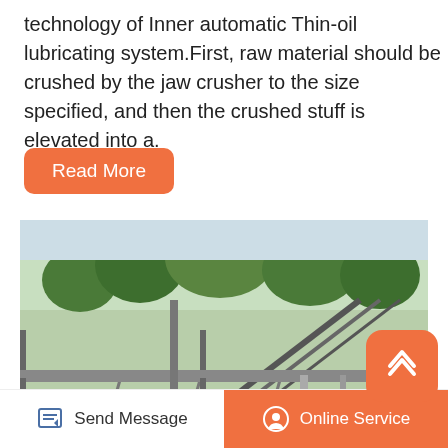technology of Inner automatic Thin-oil lubricating system.First, raw material should be crushed by the jaw crusher to the size specified, and then the crushed stuff is elevated into a.
Read More
[Figure (photo): Industrial mining/crushing machinery equipment outdoors with conveyor belts, large rollers (green and yellow), metal framework structures, and a hillside with trees in the background.]
[Figure (other): Scroll-to-top button with upward chevron arrow icon, orange rounded square]
Send Message  Online Service